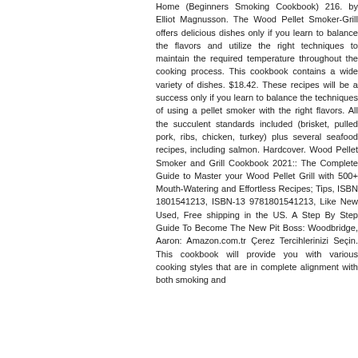Home (Beginners Smoking Cookbook) 216. by Elliot Magnusson. The Wood Pellet Smoker-Grill offers delicious dishes only if you learn to balance the flavors and utilize the right techniques to maintain the required temperature throughout the cooking process. This cookbook contains a wide variety of dishes. $18.42. These recipes will be a success only if you learn to balance the techniques of using a pellet smoker with the right flavors. All the succulent standards included (brisket, pulled pork, ribs, chicken, turkey) plus several seafood recipes, including salmon. Hardcover. Wood Pellet Smoker and Grill Cookbook 2021:: The Complete Guide to Master your Wood Pellet Grill with 500+ Mouth-Watering and Effortless Recipes; Tips, ISBN 1801541213, ISBN-13 9781801541213, Like New Used, Free shipping in the US. A Step By Step Guide To Become The New Pit Boss: Woodbridge, Aaron: Amazon.com.tr Çerez Tercihlerinizi Seçin. This cookbook will provide you with various cooking styles that are in complete alignment with both smoking and